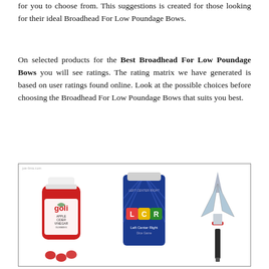for you to choose from. This suggestions is created for those looking for their ideal Broadhead For Low Poundage Bows.
On selected products for the Best Broadhead For Low Poundage Bows you will see ratings. The rating matrix we have generated is based on user ratings found online. Look at the possible choices before choosing the Broadhead For Low Poundage Bows that suits you best.
[Figure (photo): Three product images side by side: a Goli Apple Cider Vinegar gummies bottle on the left, a blue LCR (Left Center Right) dice game tin in the middle, and a broadhead arrow tip on the right. Watermark reads 'joe-lima.com'.]